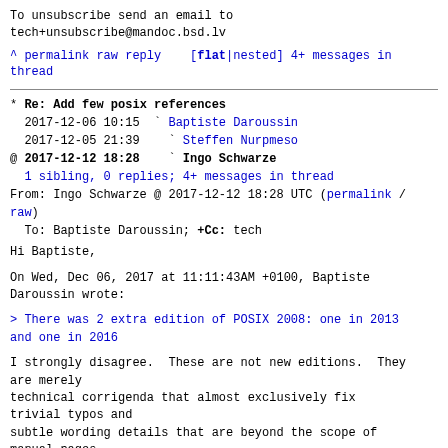To unsubscribe send an email to tech+unsubscribe@mandoc.bsd.lv
^ permalink raw reply  [flat|nested] 4+ messages in thread
* Re: Add few posix references
  2017-12-06 10:15  ` Baptiste Daroussin
  2017-12-05 21:39    ` Steffen Nurpmeso
@ 2017-12-12 18:28    ` Ingo Schwarze
  1 sibling, 0 replies; 4+ messages in thread
From: Ingo Schwarze @ 2017-12-12 18:28 UTC (permalink / raw)
  To: Baptiste Daroussin; +Cc: tech
Hi Baptiste,
On Wed, Dec 06, 2017 at 11:11:43AM +0100, Baptiste Daroussin wrote:
> There was 2 extra edition of POSIX 2008: one in 2013 and one in 2016
I strongly disagree.  These are not new editions.  They are merely
technical corrigenda that almost exclusively fix trivial typos and
subtle wording details that are beyond the scope of manual pages